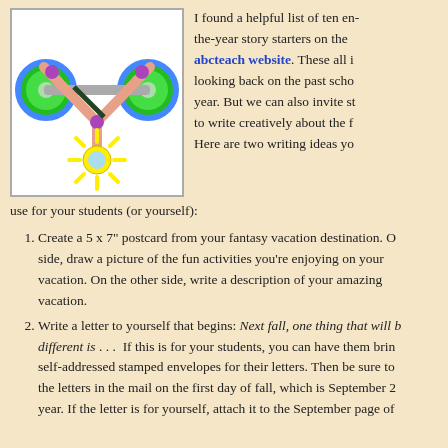[Figure (illustration): Colorful cartoon illustration of a barbell with green weights and blue rings, with a sun and radiating lines at the bottom, on a white background with a gray border.]
I found a helpful list of ten end-of-the-year story starters on the abcteach website. These all involve looking back on the past school year. But we can also invite students to write creatively about the future. Here are two writing ideas you can use for your students (or yourself):
Create a 5 x 7" postcard from your fantasy vacation destination. On one side, draw a picture of the fun activities you're enjoying on your vacation. On the other side, write a description of your amazing vacation.
Write a letter to yourself that begins: Next fall, one thing that will be different is . . .  If this is for your students, you can have them bring in self-addressed stamped envelopes for their letters. Then be sure to mail the letters in the mail on the first day of fall, which is September 21 this year. If the letter is for yourself, attach it to the September page of